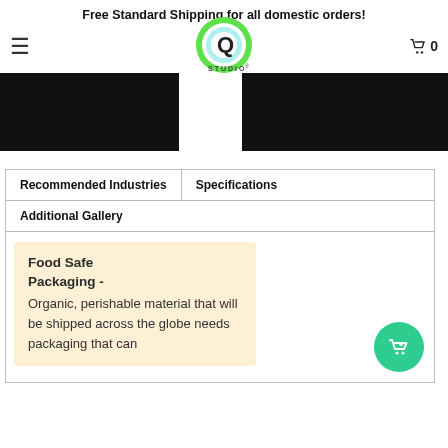Free Standard Shipping for all domestic orders!
[Figure (logo): Q Studio logo with green circular Q and STUDIO text]
[Figure (photo): Hero banner image with black panels on left and right sides]
Recommended Industries
Specifications
Additional Gallery
Food Safe Packaging - Organic, perishable material that will be shipped across the globe needs packaging that can